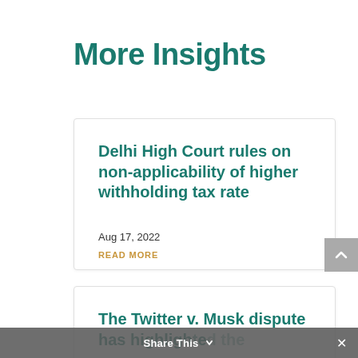More Insights
Delhi High Court rules on non-applicability of higher withholding tax rate
Aug 17, 2022
READ MORE
The Twitter v. Musk dispute has highlighted the...
Share This